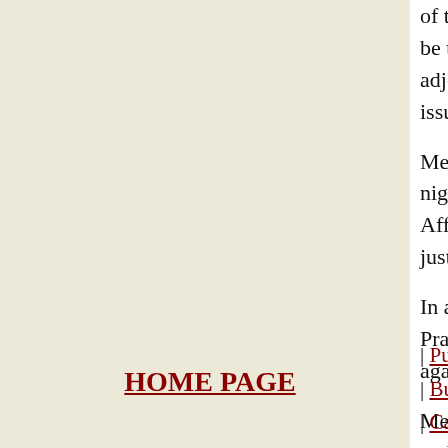of the main Opposition TDP and YSR Congress Pa... be taken up before the Question Hour, which was ... adjournment motion on the way in which both the ... issue, the YSRC wanted the House to pass a resolu...
Meanwhile, Sridhar Babu, who belongs to Telanga... night after being stripped of the Legislative Affairs... Affairs portfolio by the Chief Minister is nothing b... just two days before the Assembly was to meet to t...
In a related development, five Congress MPs - Lag... Pratap and Sabbam Hari - from Seemandhra bega... against the bifurcation decision.
Meanwhile, normal life was paralysed in all 13 dis... and educational institutions remaining closed follo...
HOME PAGE | Punjab | Haryana | Jammu & Kashmir | Him... | Business | Sports | World | Le... | Calendar | Weather |